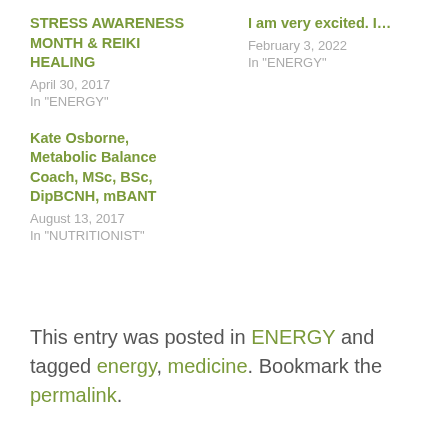STRESS AWARENESS MONTH & REIKI HEALING
April 30, 2017
In "ENERGY"
I am very excited. I...
February 3, 2022
In "ENERGY"
Kate Osborne, Metabolic Balance Coach, MSc, BSc, DipBCNH, mBANT
August 13, 2017
In "NUTRITIONIST"
This entry was posted in ENERGY and tagged energy, medicine. Bookmark the permalink.